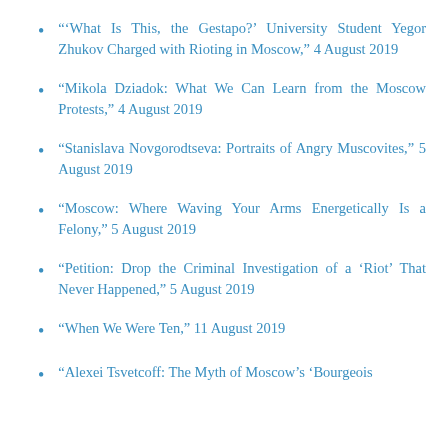“‘What Is This, the Gestapo?’ University Student Yegor Zhukov Charged with Rioting in Moscow,” 4 August 2019
“Mikola Dziadok: What We Can Learn from the Moscow Protests,” 4 August 2019
“Stanislava Novgorodtseva: Portraits of Angry Muscovites,” 5 August 2019
“Moscow: Where Waving Your Arms Energetically Is a Felony,” 5 August 2019
“Petition: Drop the Criminal Investigation of a ‘Riot’ That Never Happened,” 5 August 2019
“When We Were Ten,” 11 August 2019
“Alexei Tsvetcoff: The Myth of Moscow’s ‘Bourgeois